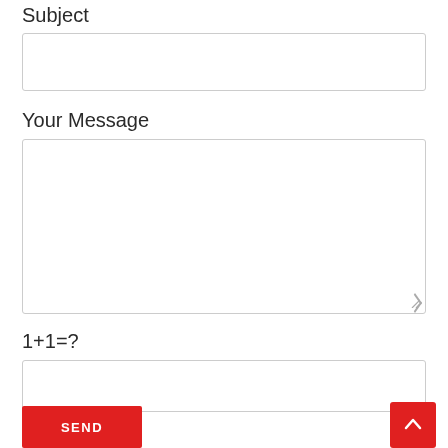Subject
[Figure (other): Empty text input field for Subject]
Your Message
[Figure (other): Large empty textarea for Your Message with resize handle]
1+1=?
[Figure (other): Empty text input field for captcha answer]
[Figure (other): Red SEND button at bottom left]
[Figure (other): Red scroll-to-top button with up arrow chevron at bottom right]